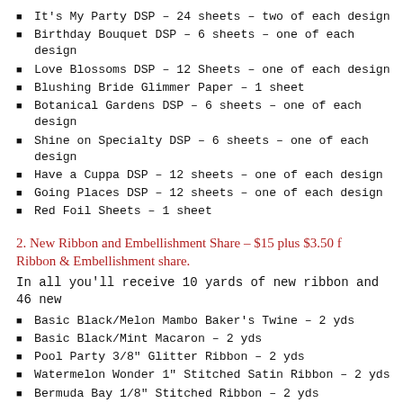It's My Party DSP – 24 sheets – two of each design
Birthday Bouquet DSP – 6 sheets – one of each design
Love Blossoms DSP – 12 Sheets – one of each design
Blushing Bride Glimmer Paper – 1 sheet
Botanical Gardens DSP – 6 sheets – one of each design
Shine on Specialty DSP – 6 sheets – one of each design
Have a Cuppa DSP – 12 sheets – one of each design
Going Places DSP – 12 sheets – one of each design
Red Foil Sheets – 1 sheet
2. New Ribbon and Embellishment Share – $15 plus $3.50 f Ribbon & Embellishment share.
In all you'll receive 10 yards of new ribbon and 46 new
Basic Black/Melon Mambo Baker's Twine – 2 yds
Basic Black/Mint Macaron – 2 yds
Pool Party 3/8″ Glitter Ribbon – 2 yds
Watermelon Wonder 1″ Stitched Satin Ribbon – 2 yds
Bermuda Bay 1/8″ Stitched Ribbon – 2 yds
It's My Party Enamel Dots – 12 (2 each of 3 colors in 2 sizes)